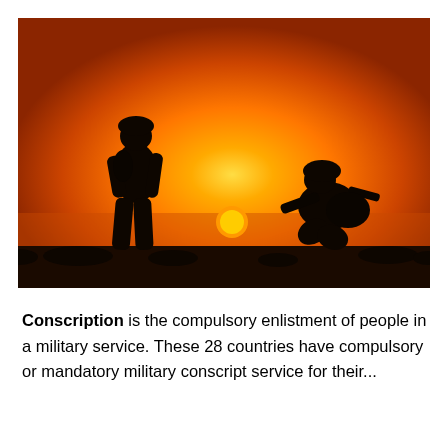[Figure (photo): Silhouette of two soldiers in military gear against an orange sunset sky. One soldier stands upright on the left, the other crouches on the right. A bright orange sun is visible near the horizon in the center-right of the image.]
Conscription  is the compulsory enlistment of people in a military service.  These 28 countries have compulsory or mandatory military conscript service for their...